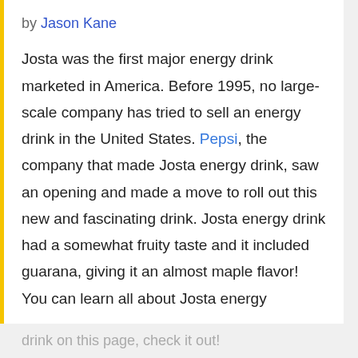by Jason Kane
Josta was the first major energy drink marketed in America. Before 1995, no large-scale company has tried to sell an energy drink in the United States. Pepsi, the company that made Josta energy drink, saw an opening and made a move to roll out this new and fascinating drink. Josta energy drink had a somewhat fruity taste and it included guarana, giving it an almost maple flavor! You can learn all about Josta energy drink on this page, check it out!